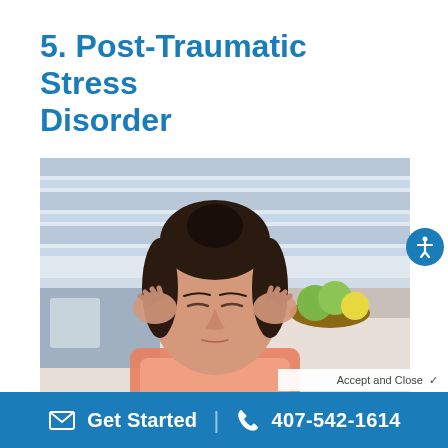5. Post-Traumatic Stress Disorder
[Figure (photo): Woman with dark hair in a bun, eyes closed, pressing her fingers to her temples as if stressed, with a kitchen background including a bowl of fruit.]
Accept and Close
Get Started  |  407-542-1614